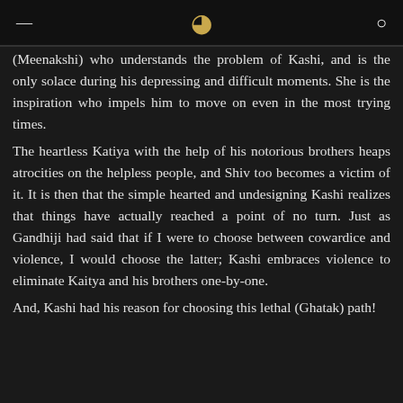≡  C  🔍
(Meenakshi) who understands the problem of Kashi, and is the only solace during his depressing and difficult moments. She is the inspiration who impels him to move on even in the most trying times.
The heartless Katiya with the help of his notorious brothers heaps atrocities on the helpless people, and Shiv too becomes a victim of it. It is then that the simple hearted and undesigning Kashi realizes that things have actually reached a point of no turn. Just as Gandhiji had said that if I were to choose between cowardice and violence, I would choose the latter; Kashi embraces violence to eliminate Kaitya and his brothers one-by-one.
And, Kashi had his reason for choosing this lethal (Ghatak) path!